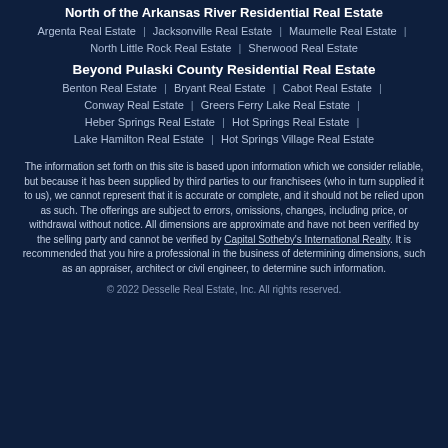North of the Arkansas River Residential Real Estate
Argenta Real Estate | Jacksonville Real Estate | Maumelle Real Estate | North Little Rock Real Estate | Sherwood Real Estate
Beyond Pulaski County Residential Real Estate
Benton Real Estate | Bryant Real Estate | Cabot Real Estate | Conway Real Estate | Greers Ferry Lake Real Estate | Heber Springs Real Estate | Hot Springs Real Estate | Lake Hamilton Real Estate | Hot Springs Village Real Estate
The information set forth on this site is based upon information which we consider reliable, but because it has been supplied by third parties to our franchisees (who in turn supplied it to us), we cannot represent that it is accurate or complete, and it should not be relied upon as such. The offerings are subject to errors, omissions, changes, including price, or withdrawal without notice. All dimensions are approximate and have not been verified by the selling party and cannot be verified by Capital Sotheby's International Realty. It is recommended that you hire a professional in the business of determining dimensions, such as an appraiser, architect or civil engineer, to determine such information.
© 2022 Desselle Real Estate, Inc. All rights reserved.